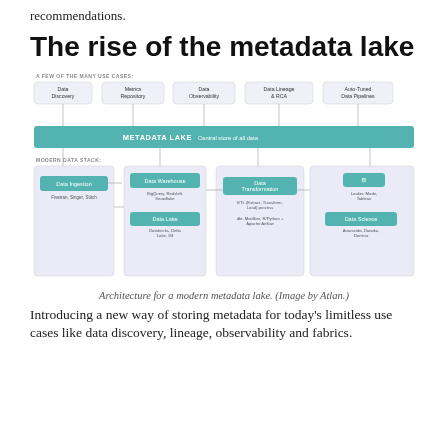recommendations.
The rise of the metadata lake
[Figure (flowchart): Architecture diagram for a modern metadata lake. Top row shows use cases: Data Discovery, Metrics Repository, Data Observability, Data Lineage & RCA, Auto-Tuned Data Pipelines. Central teal bar labeled METADATA LAKE - Central store of all data. Bottom section labeled MODERN DATA STACK shows connected boxes: Data Ingestion (Fivetran, Singer, Stitch), Data Warehouse (BigQuery, Redshift, Snowflake), Data Lake (Databricks, Delta Lake, S3), Data Transformation (ETL process, dbt, Matillion, R/Python + Apache Airflow), BI (Looker, Mode, Tableau), Data Science (Anaconda, Dataiku, Domino).]
Architecture for a modern metadata lake. (Image by Atlan.)
Introducing a new way of storing metadata for today's limitless use cases like data discovery, lineage, observability and fabrics.